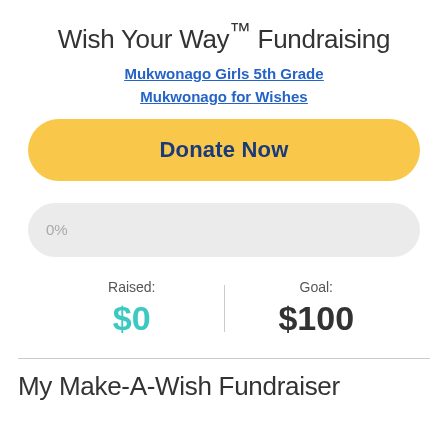Wish Your Way™ Fundraising
Mukwonago Girls 5th Grade
Mukwonago for Wishes
Donate Now
[Figure (infographic): Progress bar showing 0% completion, gray background, rounded pill shape]
Raised: $0
Goal: $100
My Make-A-Wish Fundraiser